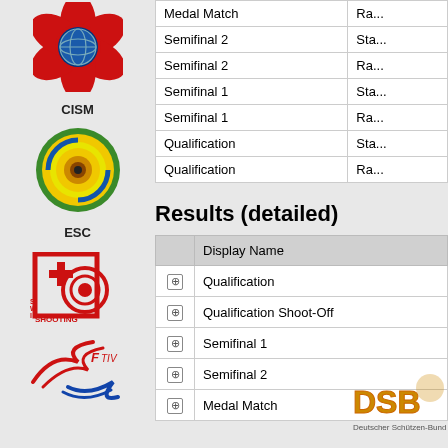[Figure (logo): CISM international shooting logo - red flower/petal design with globe]
CISM
[Figure (logo): ESC European Shooting Confederation logo - circular target design in yellow, green, blue]
ESC
[Figure (logo): Swiss Shooting logo - red square with target and cross design]
[Figure (logo): FITV logo - red and blue bird/arrow design]
|  |  |
| --- | --- |
| Medal Match | Ra... |
| Semifinal 2 | Sta... |
| Semifinal 2 | Ra... |
| Semifinal 1 | Sta... |
| Semifinal 1 | Ra... |
| Qualification | Sta... |
| Qualification | Ra... |
Results (detailed)
|  | Display Name |
| --- | --- |
| + | Qualification |
| + | Qualification Shoot-Off |
| + | Semifinal 1 |
| + | Semifinal 2 |
| + | Medal Match |
[Figure (logo): DSB Deutscher Schützen-Bund logo]